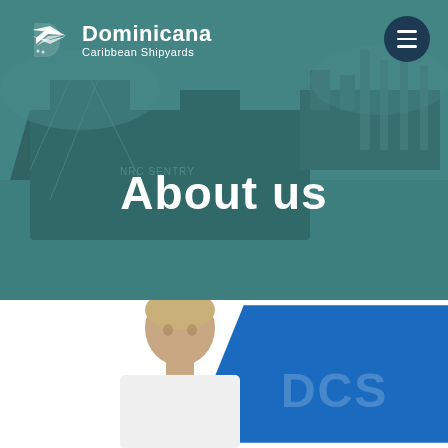[Figure (photo): Hero banner with teal-overlaid aerial photo of a large cargo ship labeled NRC SENTRY docked at a shipyard with cranes and equipment visible]
[Figure (logo): Dominicana Caribbean Shipyards logo — white stylized D-ship icon with white text 'Dominicana' and 'Caribbean Shipyards' below]
[Figure (other): Dark navy circular hamburger menu button with three white horizontal lines in top right corner]
About us
[Figure (photo): Bottom section showing partial head and shoulders of a man with light hair against white background, with a blue parallelogram/chevron shape partially overlapping on the right]